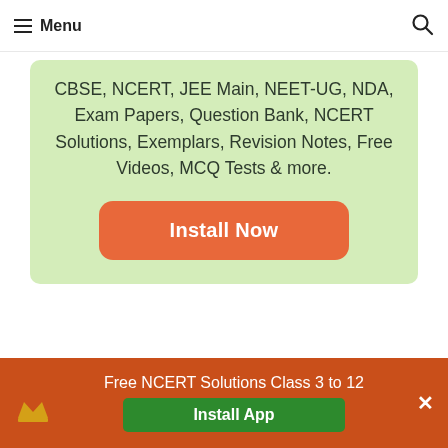Menu
CBSE, NCERT, JEE Main, NEET-UG, NDA, Exam Papers, Question Bank, NCERT Solutions, Exemplars, Revision Notes, Free Videos, MCQ Tests & more.
Install Now
Free NCERT Solutions Class 3 to 12 Install App